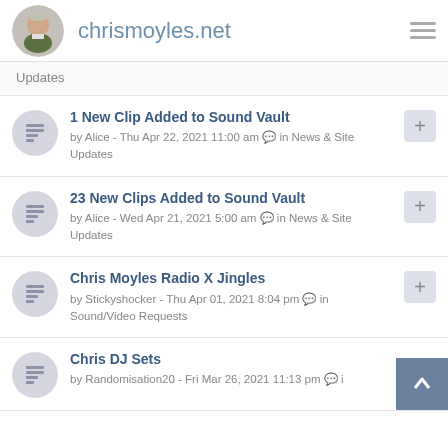chrismoyles.net
Updates
1 New Clip Added to Sound Vault — by Alice - Thu Apr 22, 2021 11:00 am in News & Site Updates
23 New Clips Added to Sound Vault — by Alice - Wed Apr 21, 2021 5:00 am in News & Site Updates
Chris Moyles Radio X Jingles — by Stickyshocker - Thu Apr 01, 2021 8:04 pm in Sound/Video Requests
Chris DJ Sets — by Randomisation20 - Fri Mar 26, 2021 11:13 pm